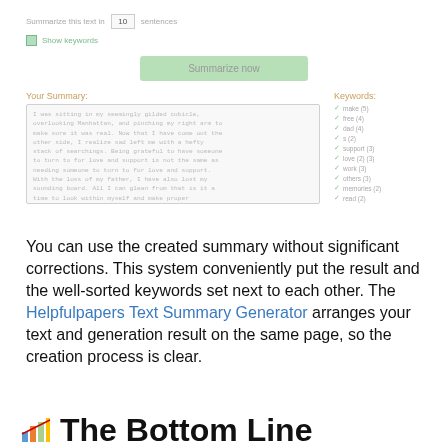[Figure (screenshot): Web UI screenshot showing a text summarizer tool with a sentence count input field set to 10, a 'Show keywords' checkbox, a green 'Summarize now' button, a 'Your Summary' text area with lorem-style greyed out passage text, and a 'Keywords' panel on the right listing: make(5), free(4), dad(4), s(2), support(3), love(2)(3), work(3), others(3), memories(2), read(2)]
You can use the created summary without significant corrections. This system conveniently put the result and the well-sorted keywords set next to each other. The Helpfulpapers Text Summary Generator arranges your text and generation result on the same page, so the creation process is clear.
The Bottom Line